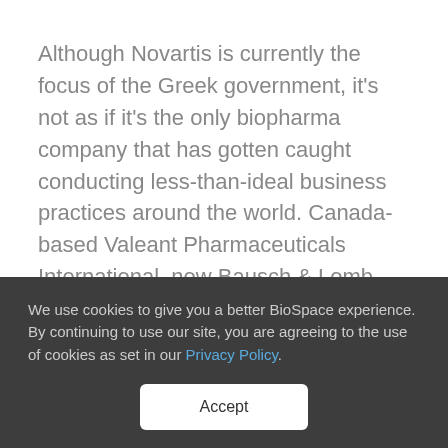Although Novartis is currently the focus of the Greek government, it's not as if it's the only biopharma company that has gotten caught conducting less-than-ideal business practices around the world. Canada-based Valeant Pharmaceuticals International, now Bausch & Lomb, has a whole range of corruption scandals that forced its CEO J. Michael Pearson and much of its C-suite out of the company. These included
We use cookies to give you a better BioSpace experience. By continuing to use our site, you are agreeing to the use of cookies as set in our Privacy Policy.
Accept